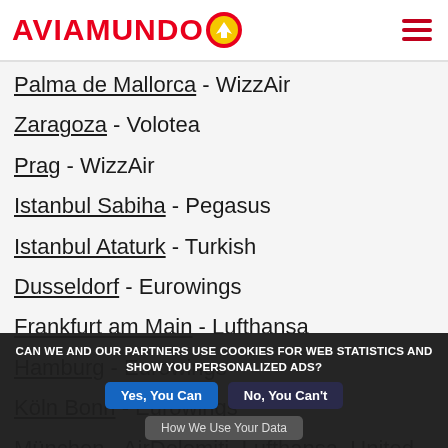AVIAMUNDO
Palma de Mallorca - WizzAir
Zaragoza - Volotea
Prag - WizzAir
Istanbul Sabiha - Pegasus
Istanbul Ataturk - Turkish
Dusseldorf - Eurowings
Frankfurt am Main - Lufthansa
Hamburg - Eurowings
Köln Bonn - Eurowings
München - AirDolomiti, Lufthansa, United Airlines
CAN WE AND OUR PARTNERS USE COOKIES FOR WEB STATISTICS AND SHOW YOU PERSONALIZED ADS? Yes, You Can   No, You Can't   How We Use Your Data